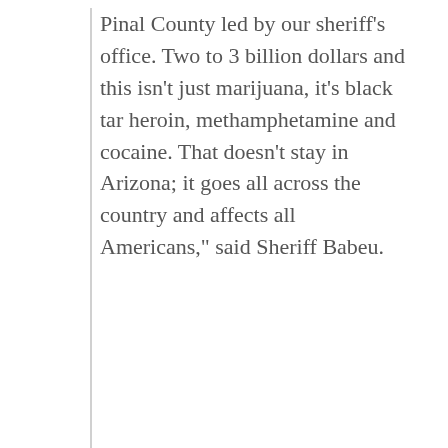Pinal County led by our sheriff's office. Two to 3 billion dollars and this isn't just marijuana, it's black tar heroin, methamphetamine and cocaine. That doesn't stay in Arizona; it goes all across the country and affects all Americans," said Sheriff Babeu.
SHERIFFS
< PREVIOUS ARTICLE
Separated Families: Naivety or Duplicity?
NEXT ARTICLE >
Five Things the Republican Congress Must Do in 2015